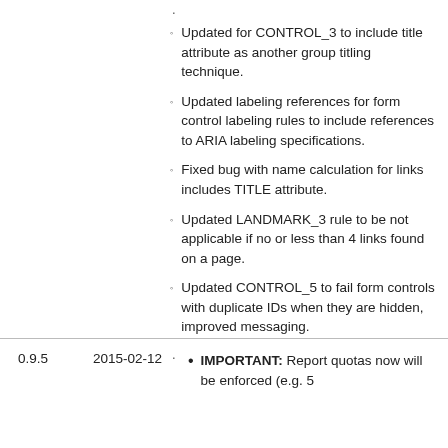. (leading dot)
Updated for CONTROL_3 to include title attribute as another group titling technique.
Updated labeling references for form control labeling rules to include references to ARIA labeling specifications.
Fixed bug with name calculation for links includes TITLE attribute.
Updated LANDMARK_3 rule to be not applicable if no or less than 4 links found on a page.
Updated CONTROL_5 to fail form controls with duplicate IDs when they are hidden, improved messaging.
. (trailing dot)
| Version | Date | Notes |
| --- | --- | --- |
| 0.9.5 | 2015-02-12 | IMPORTANT: Report quotas now will be enforced (e.g. 5 |